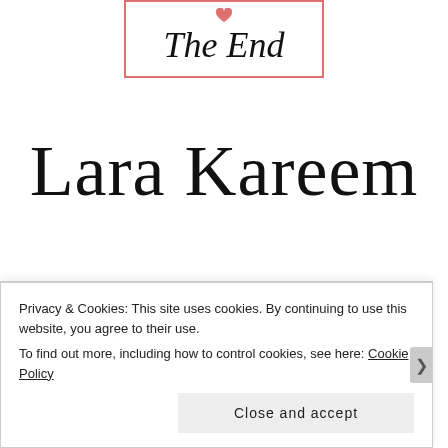[Figure (illustration): Decorative box with pink/salmon border containing the text 'The End' in cursive script with a small heart symbol above]
Lara Kareem
Twitter · Instagram · Goodreads · Services
Privacy & Cookies: This site uses cookies. By continuing to use this website, you agree to their use.
To find out more, including how to control cookies, see here: Cookie Policy
Close and accept